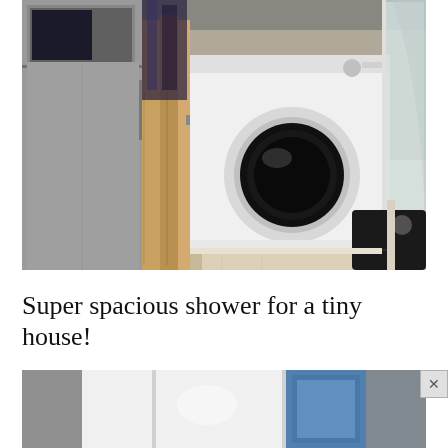[Figure (photo): Interior photo of a small utility/laundry room showing a stainless steel refrigerator on the left, a folding wooden door/partition in the center, a white front-loading washing machine, a glass shower enclosure on the right, and a light-colored floor with a black mat.]
Super spacious shower for a tiny house!
[Figure (photo): Partial interior photo showing what appears to be a shower or bathroom enclosure with white panels and blue towels visible on the right side.]